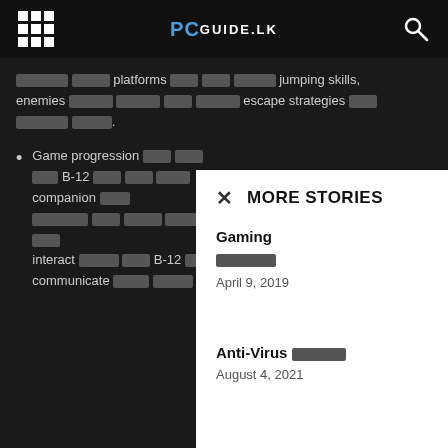PCGuide.lk navigation bar
[redacted] platforms [redacted] jumping skills, enemies [redacted] [redacted] escape strategies [redacted] [redacted].
Game progression [redacted] B-12 [redacted] companion [redacted] [redacted] [redacted] [redacted] [redacted] interact [redacted] B-12 [redacted] communicate [redacted] [redacted]
MORE STORIES
Gaming
April 9, 2019
Anti-Virus [redacted]
August 4, 2021